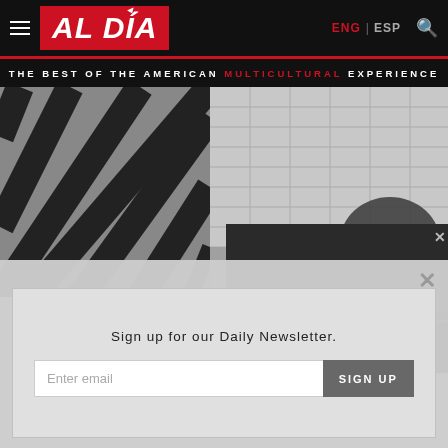AL DÍA — ENG | ESP
THE BEST OF THE AMERICAN MULTICULTURAL EXPERIENCE
[Figure (photo): Black and white photo of Hollywood Screen Actors Union building exterior with diagonal architectural lines and tiled wall]
Hollywood Screen Actors Union building. File Image.
Hollywood Screen Actors Union launches its Spanish
[Figure (screenshot): Video player overlay showing playback controls: skip back, pause, skip forward buttons; progress bar; mute icon; 00:00 / 00:00 time display; fullscreen button]
Sign up for our Daily Newsletter.
Enter email   SIGN UP